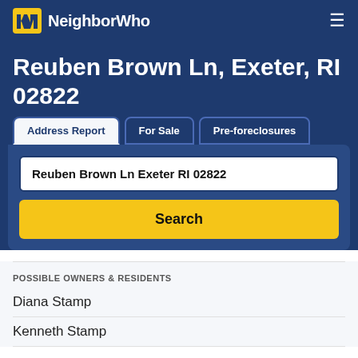NeighborWho
Reuben Brown Ln, Exeter, RI 02822
Address Report | For Sale | Pre-foreclosures
Reuben Brown Ln Exeter RI 02822
Search
POSSIBLE OWNERS & RESIDENTS
Diana Stamp
Kenneth Stamp